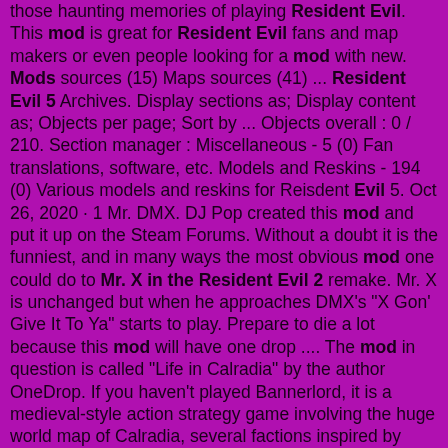those haunting memories of playing Resident Evil. This mod is great for Resident Evil fans and map makers or even people looking for a mod with new. Mods sources (15) Maps sources (41) ... Resident Evil 5 Archives. Display sections as; Display content as; Objects per page; Sort by ... Objects overall : 0 / 210. Section manager : Miscellaneous - 5 (0) Fan translations, software, etc. Models and Reskins - 194 (0) Various models and reskins for Reisdent Evil 5. Oct 26, 2020 · 1 Mr. DMX. DJ Pop created this mod and put it up on the Steam Forums. Without a doubt it is the funniest, and in many ways the most obvious mod one could do to Mr. X in the Resident Evil 2 remake. Mr. X is unchanged but when he approaches DMX's "X Gon' Give It To Ya" starts to play. Prepare to die a lot because this mod will have one drop .... The mod in question is called "Life in Calradia" by the author OneDrop. If you haven't played Bannerlord, it is a medieval-style action strategy game involving the huge world map of Calradia, several factions inspired by human history, hundreds of Nobles, and an assortment of beautifully created towns, castles, and villages.. This mod replaces Sheva Cubbin'/Disco (uPl01ShebaCos2.arc) with Four-Eyes from Resident Evil: Operation Raccoon City. The mod works in campaign and Mercenaries. The mod includes two versions: Default colours and the alternate colour scheme. The Resident Evil 2 Remake Headshot Mod can be